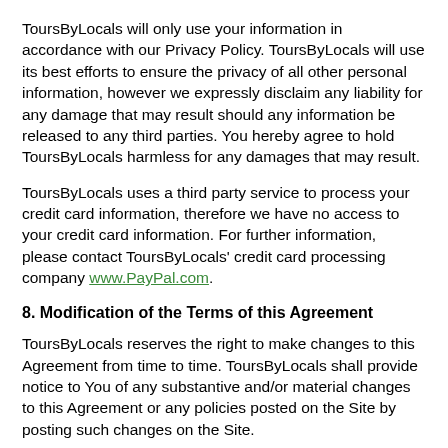ToursByLocals will only use your information in accordance with our Privacy Policy. ToursByLocals will use its best efforts to ensure the privacy of all other personal information, however we expressly disclaim any liability for any damage that may result should any information be released to any third parties. You hereby agree to hold ToursByLocals harmless for any damages that may result.
ToursByLocals uses a third party service to process your credit card information, therefore we have no access to your credit card information. For further information, please contact ToursByLocals' credit card processing company www.PayPal.com.
8. Modification of the Terms of this Agreement
ToursByLocals reserves the right to make changes to this Agreement from time to time. ToursByLocals shall provide notice to You of any substantive and/or material changes to this Agreement or any policies posted on the Site by posting such changes on the Site.
9. Term of Agreement